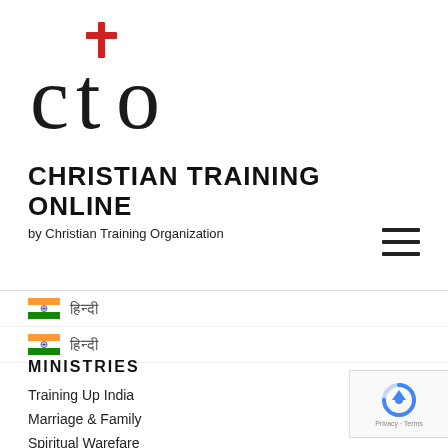[Figure (logo): CTO logo with red cross over the letter 't' in lowercase 'cto']
CHRISTIAN TRAINING ONLINE
by Christian Training Organization
[Figure (other): Hamburger menu icon with three horizontal lines]
🇮🇳 हिन्दी (Hindi language option with Indian flag)
🇮🇳 हिन्दी (Hindi language option with Indian flag)
MINISTRIES
Training Up India
Marriage & Family
Spiritual Warefare
World View